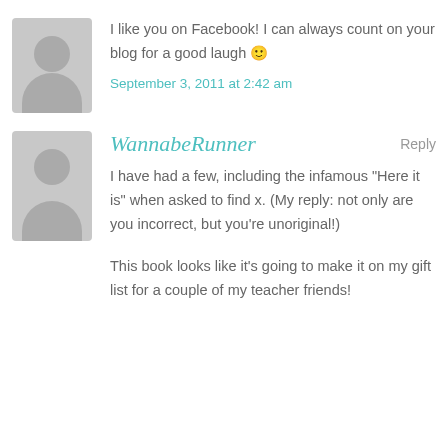I like you on Facebook! I can always count on your blog for a good laugh 🙂
September 3, 2011 at 2:42 am
WannabeRunner
Reply
I have had a few, including the infamous "Here it is" when asked to find x. (My reply: not only are you incorrect, but you're unoriginal!)
This book looks like it's going to make it on my gift list for a couple of my teacher friends!